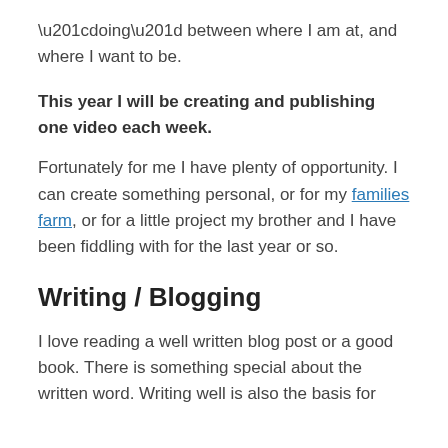“doing” between where I am at, and where I want to be.
This year I will be creating and publishing one video each week.
Fortunately for me I have plenty of opportunity. I can create something personal, or for my families farm, or for a little project my brother and I have been fiddling with for the last year or so.
Writing / Blogging
I love reading a well written blog post or a good book. There is something special about the written word. Writing well is also the basis for